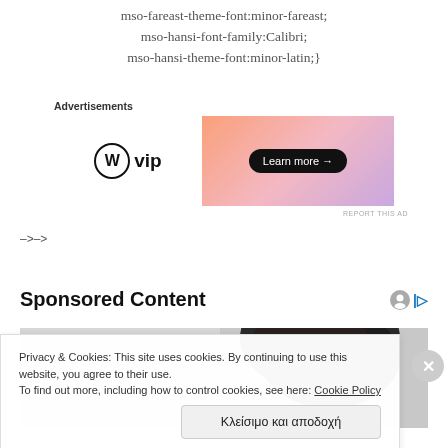mso-fareast-theme-font:minor-fareast;
mso-hansi-font-family:Calibri;
mso-hansi-theme-font:minor-latin;}
[Figure (screenshot): WordPress VIP advertisement banner with orange/pink gradient background and 'Learn more →' button]
–>–>
Sponsored Content
[Figure (photo): Partial photo of a person with dark hair, shown from behind/side, black and white or muted tones]
Privacy & Cookies: This site uses cookies. By continuing to use this website, you agree to their use.
To find out more, including how to control cookies, see here: Cookie Policy
Κλείσιμο και αποδοχή